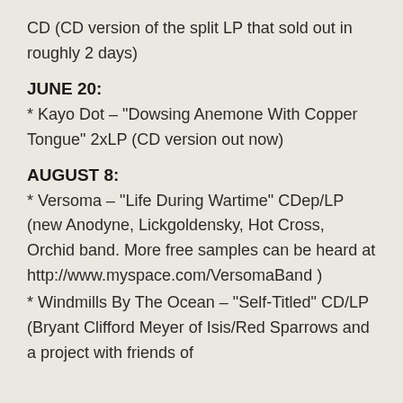CD (CD version of the split LP that sold out in roughly 2 days)
JUNE 20:
* Kayo Dot – "Dowsing Anemone With Copper Tongue" 2xLP (CD version out now)
AUGUST 8:
* Versoma – "Life During Wartime" CDep/LP (new Anodyne, Lickgoldensky, Hot Cross, Orchid band. More free samples can be heard at http://www.myspace.com/VersomaBand )
* Windmills By The Ocean – "Self-Titled" CD/LP (Bryant Clifford Meyer of Isis/Red Sparrows and a project with friends of